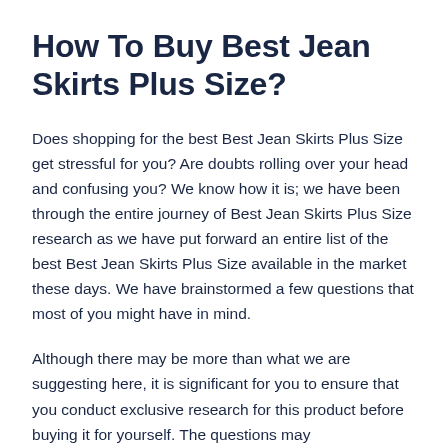How To Buy Best Jean Skirts Plus Size?
Does shopping for the best Best Jean Skirts Plus Size get stressful for you? Are doubts rolling over your head and confusing you? We know how it is; we have been through the entire journey of Best Jean Skirts Plus Size research as we have put forward an entire list of the best Best Jean Skirts Plus Size available in the market these days. We have brainstormed a few questions that most of you might have in mind.
Although there may be more than what we are suggesting here, it is significant for you to ensure that you conduct exclusive research for this product before buying it for yourself. The questions may